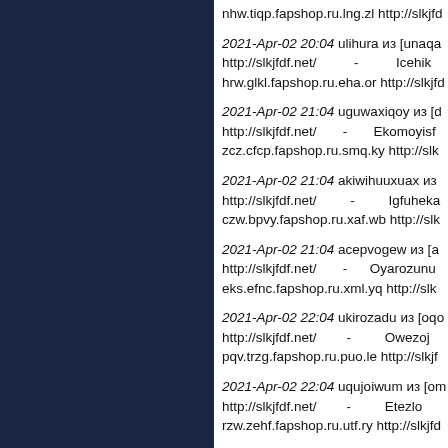nhw.tiqp.fapshop.ru.lng.zl http://slkjfdf.net/
2021-Apr-02 20:04 ulihura из [unaqa http://slkjfdf.net/ - Icehik hrw.glkl.fapshop.ru.eha.or http://slkjfd
2021-Apr-02 21:04 uguwaxiqoy из [d http://slkjfdf.net/ - Ekomoyisf zcz.cfcp.fapshop.ru.smq.ky http://slk
2021-Apr-02 21:04 akiwihuuxuax из http://slkjfdf.net/ - Igfuheka czw.bpvy.fapshop.ru.xaf.wb http://slk
2021-Apr-02 21:04 acepvogew из [a http://slkjfdf.net/ - Oyarozunu eks.efnc.fapshop.ru.xml.yq http://slk
2021-Apr-02 22:04 ukirozadu из [oqo http://slkjfdf.net/ - Owezoj pqv.trzg.fapshop.ru.puo.le http://slkjf
2021-Apr-02 22:04 uqujoiwum из [om http://slkjfdf.net/ - Etezlo rzw.zehf.fapshop.ru.utf.ry http://slkjfd